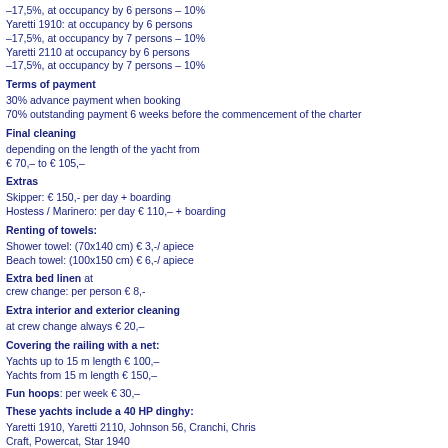–17,5%, at occupancy by 6 persons – 10%
Yaretti 1910: at occupancy by 6 persons
–17,5%, at occupancy by 7 persons – 10%
Yaretti 2110 at occupancy by 6 persons
–17,5%, at occupancy by 7 persons – 10%
Terms of payment
30% advance payment when booking
70% outstanding payment 6 weeks before the commencement of the charter
Final cleaning
depending on the length of the yacht from
€ 70,– to € 105,–
Extras
Skipper: € 150,- per day + boarding
Hostess / Marinero: per day € 110,– + boarding
Renting of towels:
Shower towel: (70x140 cm) € 3,-/ apiece
Beach towel: (100x150 cm) € 6,-/ apiece
Extra bed linen at
crew change: per person € 8,-
Extra interior and exterior cleaning
at crew change always € 20,–
Covering the railing with a net:
Yachts up to 15 m length € 100,–
Yachts from 15 m length € 150,–
Fun hoops: per week € 30,–
These yachts include a 40 HP dinghy:
Yaretti 1910, Yaretti 2110, Johnson 56, Cranchi, Chris Craft, Powercat, Star 1940
Assumption of yachts
The assumption of the yachts:
Saturdays from 6.00 p.m.